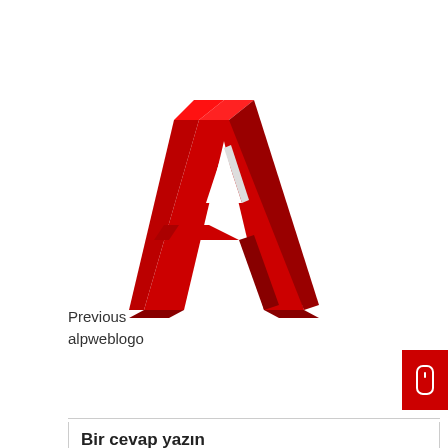[Figure (logo): 3D red letter A logo rendered with perspective and shadow, bright red color with darker red sides, sitting on white background]
Previous
alpweblogo
Bir cevap yazın